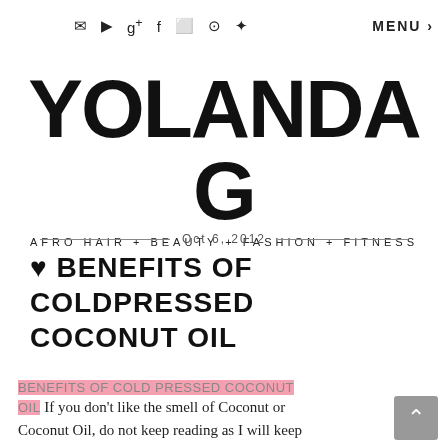✉ ▶ g+ f ⬜ ⊙ ✦   MENU
YOLANDA G
AFRO HAIR + BEAUTY + FASHION + FITNESS
Oct 6, 2012
♥ BENEFITS OF COLDPRESSED COCONUT OIL
BENEFITS OF COLD PRESSED COCONUT OIL If you don't like the smell of Coconut or Coconut Oil, do not keep reading as I will keep